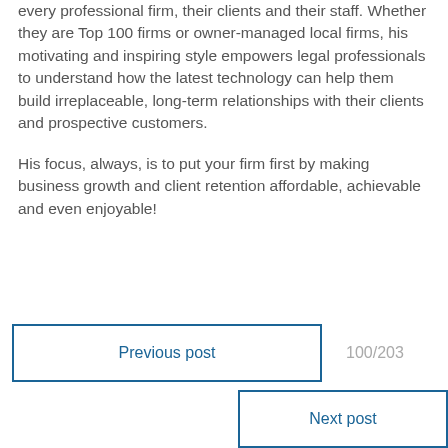every professional firm, their clients and their staff. Whether they are Top 100 firms or owner-managed local firms, his motivating and inspiring style empowers legal professionals to understand how the latest technology can help them build irreplaceable, long-term relationships with their clients and prospective customers.
His focus, always, is to put your firm first by making business growth and client retention affordable, achievable and even enjoyable!
Previous post
100/203
Next post